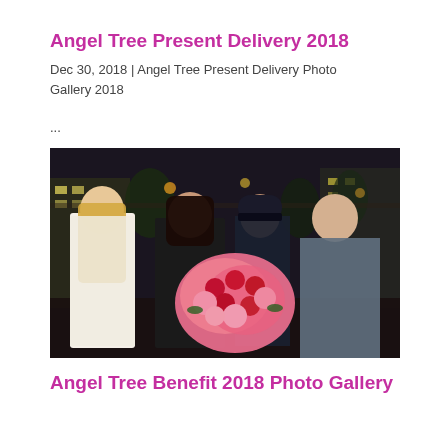Angel Tree Present Delivery 2018
Dec 30, 2018 | Angel Tree Present Delivery Photo Gallery 2018
...
[Figure (photo): Four people posing outdoors at a night event. A woman with long blonde hair in a white blazer, a dark-haired woman in black, a person in a dark beanie hat and jacket, and a man in a grey blazer. The dark-haired woman is holding a large bouquet of pink and red flowers. Stage and lights visible in background.]
Angel Tree Benefit 2018 Photo Gallery